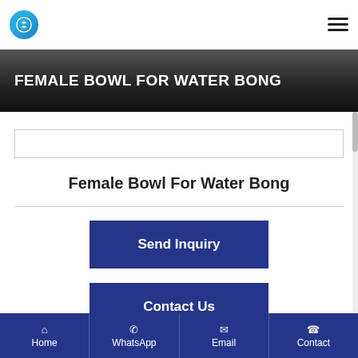Female Bowl For Water Bong - navigation header with logo and hamburger menu
FEMALE BOWL FOR WATER BONG
Female Bowl For Water Bong
Send Inquiry
Contact Us
Product Detail
Home | WhatsApp | Email | Contact